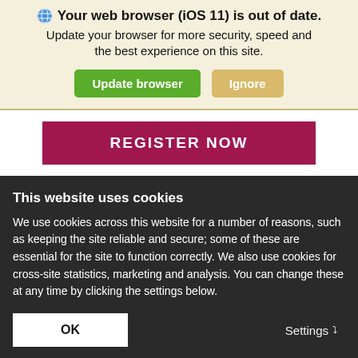Your web browser (iOS 11) is out of date.
Update your browser for more security, speed and the best experience on this site.
Update browser | Ignore
REGISTER NOW
This website uses cookies
We use cookies across this website for a number of reasons, such as keeping the site reliable and secure; some of these are essential for the site to function correctly. We also use cookies for cross-site statistics, marketing and analysis. You can change these at any time by clicking the settings below.
OK
Settings